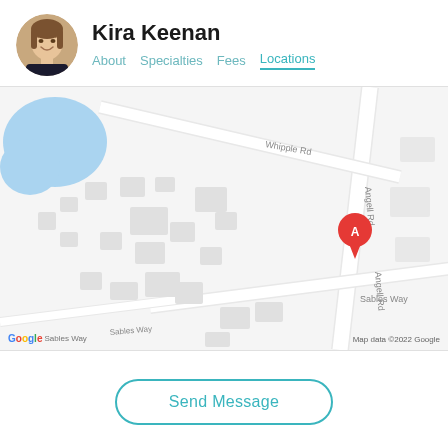Kira Keenan
About  Specialties  Fees  Locations
[Figure (map): Google Maps view showing Angell Rd and Whipple Rd intersection area with a red location marker labeled 'A'. Sables Way also visible. Map data ©2022 Google.]
Send Message